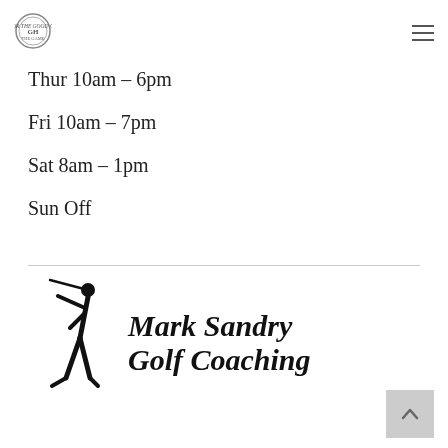Logo and navigation header
Thur 10am – 6pm
Fri 10am – 7pm
Sat 8am – 1pm
Sun Off
[Figure (logo): Mark Sandry Golf Coaching logo with silhouette of golfer swinging and italic bold text 'Mark Sandry Golf Coaching']